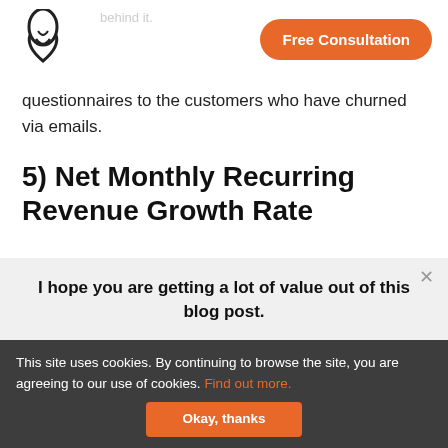Free Consultation
questionnaires to the customers who have churned via emails.
5) Net Monthly Recurring Revenue Growth Rate
I hope you are getting a lot of value out of this blog post.
Do you want to learn more about this topic? Schedule a Free Consultation call with a Single Grain Expert now!
This site uses cookies. By continuing to browse the site, you are agreeing to our use of cookies. Find out more.
Okay, thanks